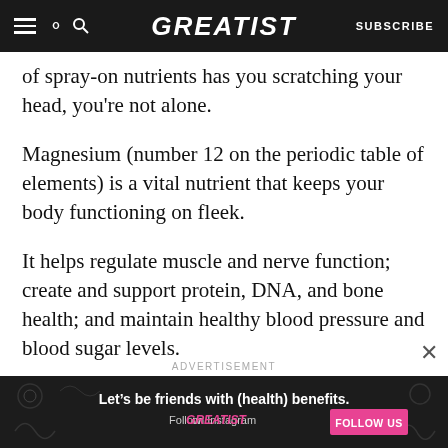GREATIST | SUBSCRIBE
of spray-on nutrients has you scratching your head, you’re not alone.
Magnesium (number 12 on the periodic table of elements) is a vital nutrient that keeps your body functioning on fleek.
It helps regulate muscle and nerve function; create and support protein, DNA, and bone health; and maintain healthy blood pressure and blood sugar levels.
ADVERTISEMENT
[Figure (screenshot): Ad banner: dark background with decorative health icons. Text reads 'Let’s be friends with (health) benefits. Follow GREATIST on Instagram' with a pink FOLLOW US button.]